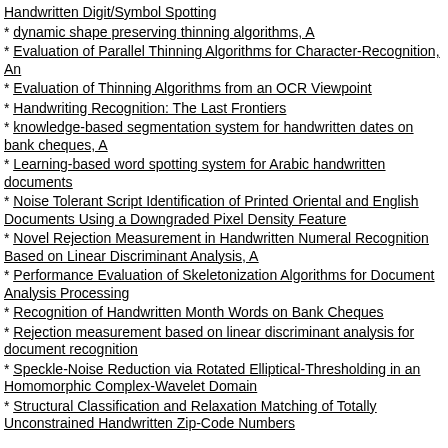Handwritten Digit/Symbol Spotting
dynamic shape preserving thinning algorithms, A
Evaluation of Parallel Thinning Algorithms for Character-Recognition, An
Evaluation of Thinning Algorithms from an OCR Viewpoint
Handwriting Recognition: The Last Frontiers
knowledge-based segmentation system for handwritten dates on bank cheques, A
Learning-based word spotting system for Arabic handwritten documents
Noise Tolerant Script Identification of Printed Oriental and English Documents Using a Downgraded Pixel Density Feature
Novel Rejection Measurement in Handwritten Numeral Recognition Based on Linear Discriminant Analysis, A
Performance Evaluation of Skeletonization Algorithms for Document Analysis Processing
Recognition of Handwritten Month Words on Bank Cheques
Rejection measurement based on linear discriminant analysis for document recognition
Speckle-Noise Reduction via Rotated Elliptical-Thresholding in an Homomorphic Complex-Wavelet Domain
Structural Classification and Relaxation Matching of Totally Unconstrained Handwritten Zip-Code Numbers